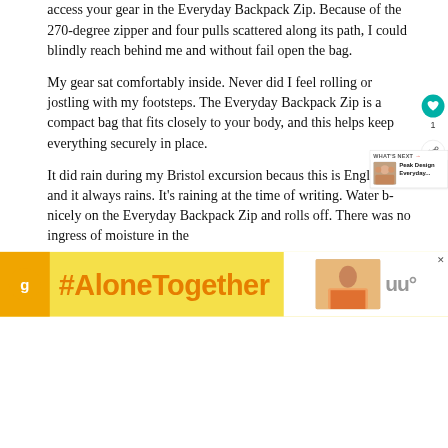access your gear in the Everyday Backpack Zip. Because of the 270-degree zipper and four pulls scattered along its path, I could blindly reach behind me and without fail open the bag.
My gear sat comfortably inside. Never did I feel rolling or jostling with my footsteps. The Everyday Backpack Zip is a compact bag that fits closely to your body, and this helps keep everything securely in place.
It did rain during my Bristol excursion because this is England, and it always rains. It's raining at the time of writing. Water beads nicely on the Everyday Backpack Zip and rolls off. There was no ingress of moisture in the
[Figure (other): Heart/like button icon (teal circle with heart), share icon, count '1', What's Next panel with Peak Design Everyday... article thumbnail]
[Figure (infographic): Ad banner: orange circle icon, #AloneTogether text in orange on yellow background, and a photo of a woman with close button and streaming logo]